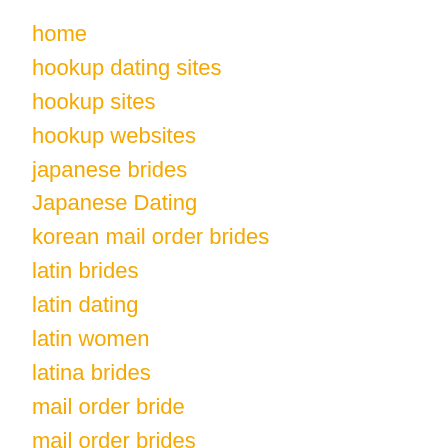home
hookup dating sites
hookup sites
hookup websites
japanese brides
Japanese Dating
korean mail order brides
latin brides
latin dating
latin women
latina brides
mail order bride
mail order brides
online dating sites
polski bukmacher